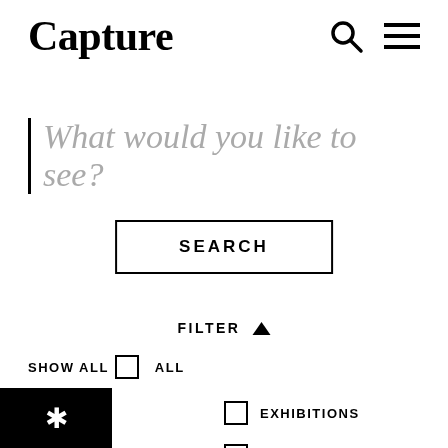Capture
What would you like to see?
SEARCH
FILTER ▲
SHOW ALL  ALL
SHOP
EXHIBITIONS
YOUTH PROGRAM
PUBLIC ART